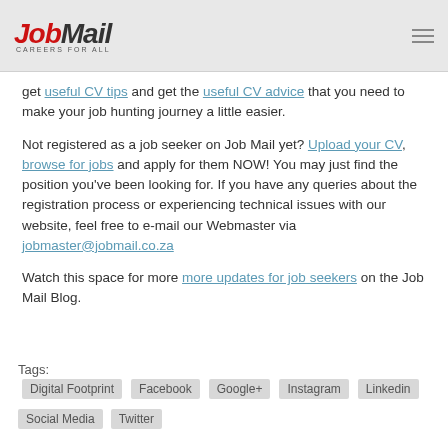JobMail CAREERS FOR ALL
get useful CV tips and get the useful CV advice that you need to make your job hunting journey a little easier.
Not registered as a job seeker on Job Mail yet? Upload your CV, browse for jobs and apply for them NOW! You may just find the position you've been looking for. If you have any queries about the registration process or experiencing technical issues with our website, feel free to e-mail our Webmaster via jobmaster@jobmail.co.za
Watch this space for more more updates for job seekers on the Job Mail Blog.
Tags: Digital Footprint Facebook Google+ Instagram Linkedin Social Media Twitter